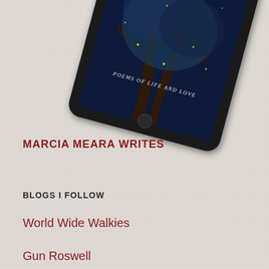[Figure (illustration): A tablet/iPad device tilted at an angle showing a book cover with dark blue background featuring a tree and fireflies, with text 'Poems of Life and Love' on screen]
MARCIA MEARA WRITES
BLOGS I FOLLOW
World Wide Walkies
Gun Roswell